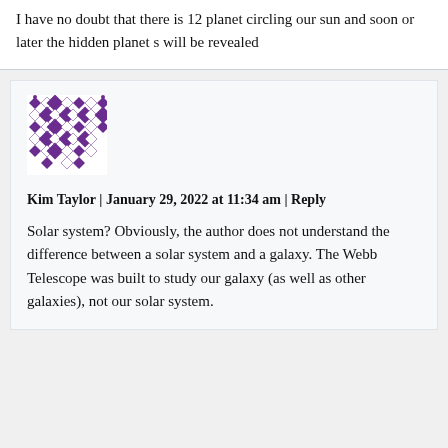I have no doubt that there is 12 planet circling our sun and soon or later the hidden planet s will be revealed
[Figure (illustration): Purple geometric pattern avatar for user Kim Taylor — a grid of diamond/square shapes in a decorative tile pattern]
Kim Taylor | January 29, 2022 at 11:34 am | Reply
Solar system? Obviously, the author does not understand the difference between a solar system and a galaxy. The Webb Telescope was built to study our galaxy (as well as other galaxies), not our solar system.